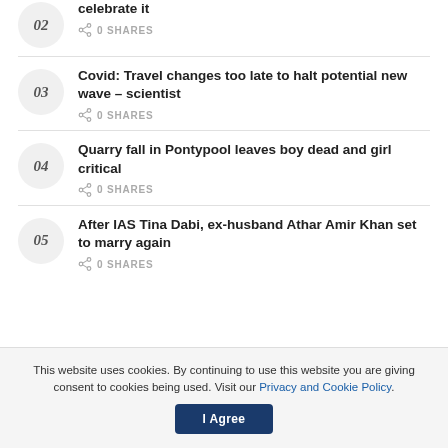02 celebrate it — 0 SHARES
03 Covid: Travel changes too late to halt potential new wave – scientist — 0 SHARES
04 Quarry fall in Pontypool leaves boy dead and girl critical — 0 SHARES
05 After IAS Tina Dabi, ex-husband Athar Amir Khan set to marry again — 0 SHARES
This website uses cookies. By continuing to use this website you are giving consent to cookies being used. Visit our Privacy and Cookie Policy.